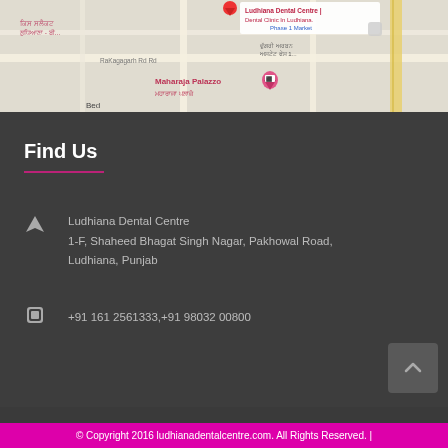[Figure (map): Google Maps screenshot showing location of Ludhiana Dental Centre near Phase 1 Market, Pakhowal Road, with map labels in English and Punjabi, including markers for Ludhiana Dental Centre and Maharaja Palazzo hotel.]
Find Us
Ludhiana Dental Centre
1-F, Shaheed Bhagat Singh Nagar, Pakhowal Road, Ludhiana, Punjab
+91 161 2561333,+91 98032 00800
© Copyright 2016 ludhianadentalcentre.com. All Rights Reserved. |